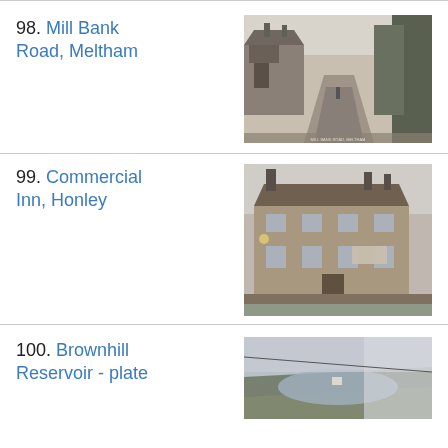98. Mill Bank Road, Meltham
[Figure (photo): Black and white historical photograph of Mill Bank Road, Meltham, showing a road with buildings on the left and trees on the right.]
99. Commercial Inn, Honley
[Figure (photo): Black and white historical photograph of the Commercial Inn, Honley, showing a stone building.]
100. Brownhill Reservoir - plate
[Figure (photo): Black and white historical photograph of Brownhill Reservoir.]